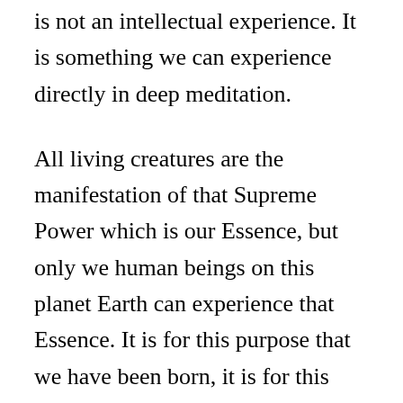is not an intellectual experience. It is something we can experience directly in deep meditation.
All living creatures are the manifestation of that Supreme Power which is our Essence, but only we human beings on this planet Earth can experience that Essence. It is for this purpose that we have been born, it is for this purpose that we live, and only by fulfilling this purpose will we be able to conquer Death. OM